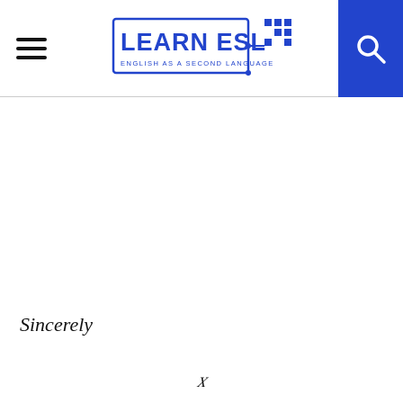LEARN ESL — ENGLISH AS A SECOND LANGUAGE
Sincerely